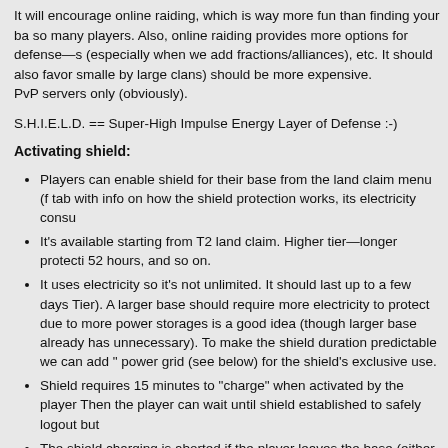It will encourage online raiding, which is way more fun than finding your base raided by so many players. Also, online raiding provides more options for defense—shields (especially when we add fractions/alliances), etc. It should also favor smaller (being raided by large clans) should be more expensive.
PvP servers only (obviously).
S.H.I.E.L.D. == Super-High Impulse Energy Layer of Defense :-)
Activating shield:
Players can enable shield for their base from the land claim menu (f tab with info on how the shield protection works, its electricity consu
It's available starting from T2 land claim. Higher tier—longer protecti 52 hours, and so on.
It uses electricity so it's not unlimited. It should last up to a few days Tier). A larger base should require more electricity to protect due to more power storages is a good idea (though larger base already has unnecessary). To make the shield duration predictable we can add " power grid (see below) for the shield's exclusive use.
Shield requires 15 minutes to "charge" when activated by the player Then the player can wait until shield established to safely logout but
The shield charging is aborted if the player leaves the base (either w corresponding notification is displayed. This is required to prevent th runs away from the base.
An activation cooldown is applied to ensure the shield cannot be est the last shutdown. It will prevent abuse of this feature while ensuring
Requirement: a player who is trying to enable the shield must have a
Requirement: there are should be NO other players inside the base